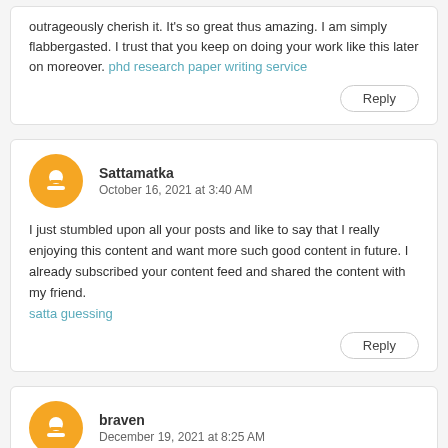outrageously cherish it. It's so great thus amazing. I am simply flabbergasted. I trust that you keep on doing your work like this later on moreover. phd research paper writing service
Reply
Sattamatka
October 16, 2021 at 3:40 AM
I just stumbled upon all your posts and like to say that I really enjoying this content and want more such good content in future. I already subscribed your content feed and shared the content with my friend. satta guessing
Reply
braven
December 19, 2021 at 8:25 AM